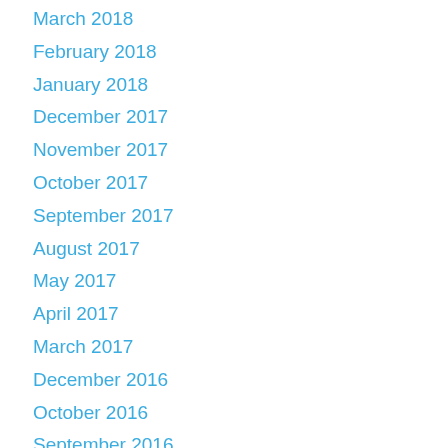March 2018
February 2018
January 2018
December 2017
November 2017
October 2017
September 2017
August 2017
May 2017
April 2017
March 2017
December 2016
October 2016
September 2016